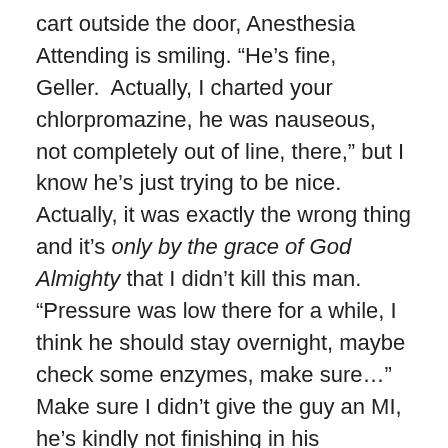cart outside the door, Anesthesia Attending is smiling. “He’s fine, Geller.  Actually, I charted your chlorpromazine, he was nauseous, not completely out of line, there,” but I know he’s just trying to be nice.  Actually, it was exactly the wrong thing and it’s only by the grace of God Almighty that I didn’t kill this man.  “Pressure was low there for a while, I think he should stay overnight, maybe check some enzymes, make sure…”  Make sure I didn’t give the guy an MI, he’s kindly not finishing in his sentence.  I nod and thank him as I take over my case again.  Anesthesia Attending gives my shoulder a reassuring squeeze as he leaves with a smile that clearly says, “You fucked that up, Geller.”
I stayed the night with my kindly old grand-dad.  He thought it was a little weird, I’m sure, that this twenty-